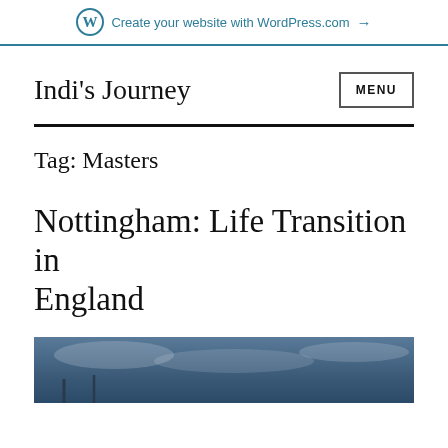Create your website with WordPress.com →
Indi's Journey
Tag: Masters
Nottingham: Life Transition in England
[Figure (photo): Partial view of a sky/outdoor photo with blue-grey tones, cropped at the bottom of the page]